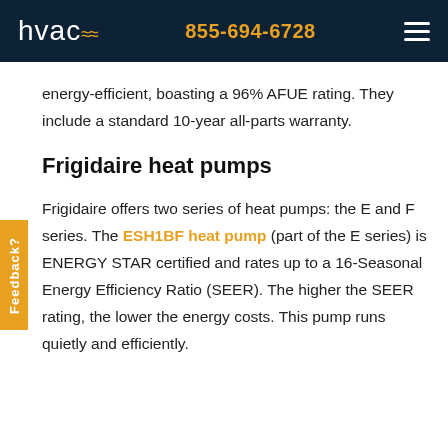hvac 855-694-6728
energy-efficient, boasting a 96% AFUE rating. They include a standard 10-year all-parts warranty.
Frigidaire heat pumps
Frigidaire offers two series of heat pumps: the E and F series. The ESH1BF heat pump (part of the E series) is ENERGY STAR certified and rates up to a 16-Seasonal Energy Efficiency Ratio (SEER). The higher the SEER rating, the lower the energy costs. This pump runs quietly and efficiently.